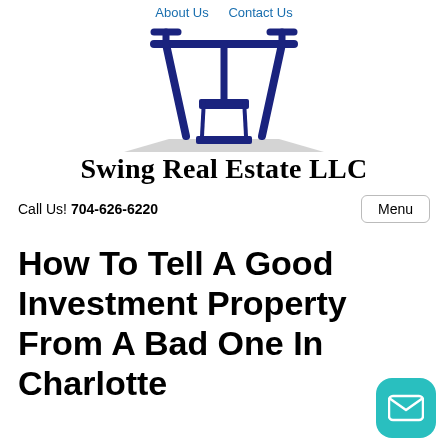About Us   Contact Us
[Figure (logo): Swing Real Estate LLC logo — a swing set silhouette in dark navy blue with a gray shadow, above the company name]
Swing Real Estate LLC
Call Us! 704-626-6220
Menu
How To Tell A Good Investment Property From A Bad One In Charlotte